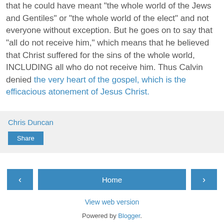that he could have meant “the whole world of the Jews and Gentiles” or “the whole world of the elect” and not everyone without exception. But he goes on to say that “all do not receive him,” which means that he believed that Christ suffered for the sins of the whole world, INCLUDING all who do not receive him. Thus Calvin denied the very heart of the gospel, which is the efficacious atonement of Jesus Christ.
Chris Duncan
Share
‹
Home
›
View web version
Powered by Blogger.